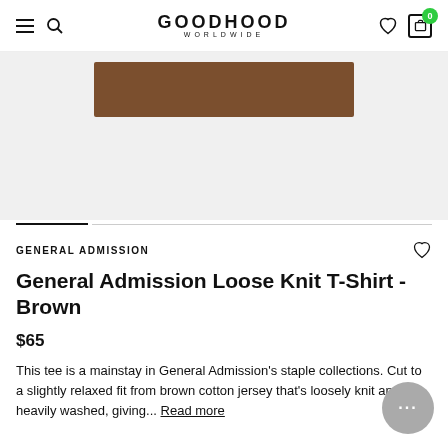GOODHOOD WORLDWIDE
[Figure (photo): Brown knit fabric swatch or shirt on light grey background — a wide rectangular piece of brown cotton jersey fabric]
GENERAL ADMISSION
General Admission Loose Knit T-Shirt - Brown
$65
This tee is a mainstay in General Admission's staple collections. Cut to a slightly relaxed fit from brown cotton jersey that's loosely knit and heavily washed, giving... Read more